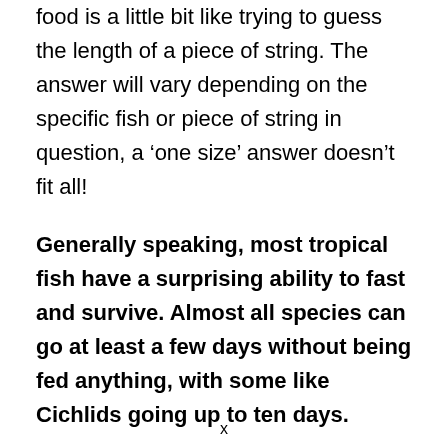food is a little bit like trying to guess the length of a piece of string. The answer will vary depending on the specific fish or piece of string in question, a ‘one size’ answer doesn’t fit all!
Generally speaking, most tropical fish have a surprising ability to fast and survive. Almost all species can go at least a few days without being fed anything, with some like Cichlids going up to ten days.
x